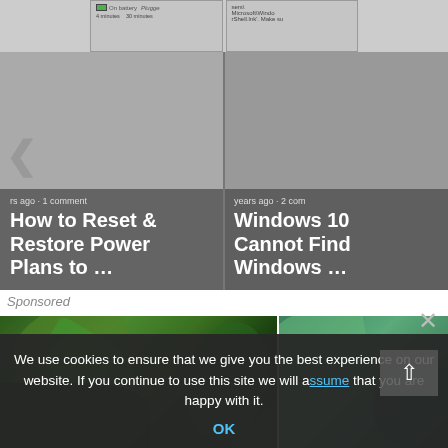[Figure (screenshot): Carousel showing two article thumbnails: 'How to Reset & Restore Power Plans to ...' and 'Windows 10 Cannot Find Windows ...' with navigation arrows on each side. Above the article cards is a screenshot of a Windows power settings UI.]
Sponsored
[Figure (photo): Two side-by-side nature photos showing green tropical plants and leaves, possibly banana plants.]
We use cookies to ensure that we give you the best experience on our website. If you continue to use this site we will assume that you are happy with it.
OK